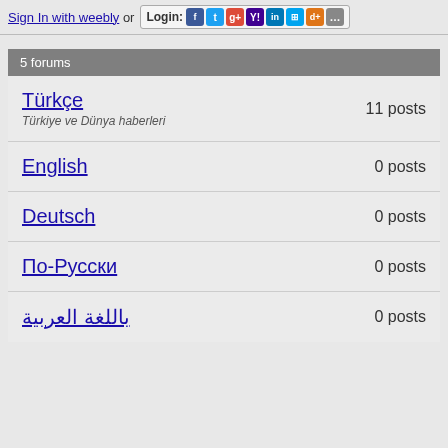Sign In with weebly or Login: [social icons]
5 forums
Türkçe — 11 posts — Türkiye ve Dünya haberleri
English — 0 posts
Deutsch — 0 posts
По-Русски — 0 posts
باللغة العربية — 0 posts